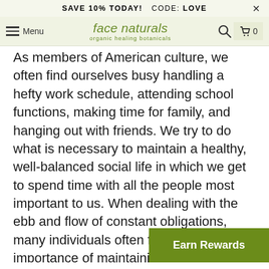SAVE 10% TODAY!  CODE: LOVE
face naturals organic healing botanicals — Menu — Search — Cart 0
As members of American culture, we often find ourselves busy handling a hefty work schedule, attending school functions, making time for family, and hanging out with friends. We try to do what is necessary to maintain a healthy, well-balanced social life in which we get to spend time with all the people most important to us. When dealing with the ebb and flow of constant obligations, many individuals often forget the importance of maintaining good physical health as well. This often leaves people stuffing their faces at the last minute with ready-made T.V. dinners, fast foods, or packaged foods already prepared for us to take home straight from the store.
Earn Rewards